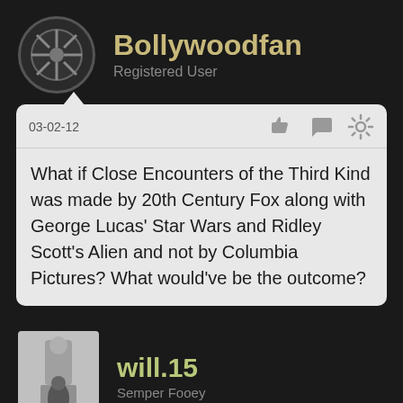Bollywoodfan
Registered User
03-02-12
What if Close Encounters of the Third Kind was made by 20th Century Fox along with George Lucas' Star Wars and Ridley Scott's Alien and not by Columbia Pictures? What would've be the outcome?
will.15
Semper Fooey